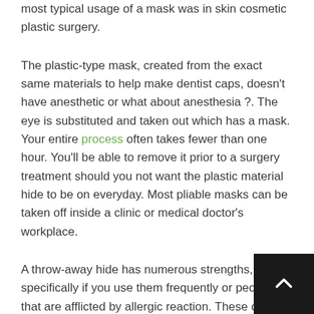most typical usage of a mask was in skin cosmetic plastic surgery.
The plastic-type mask, created from the exact same materials to help make dentist caps, doesn't have anesthetic or what about anesthesia ?. The eye is substituted and taken out which has a mask. Your entire process often takes fewer than one hour. You'll be able to remove it prior to a surgery treatment should you not want the plastic material hide to be on everyday. Most pliable masks can be taken off inside a clinic or medical doctor's workplace.
A throw-away hide has numerous strengths, specifically if you use them frequently or people that are afflicted by allergic reaction. These covers might be rinsed or cleaned and are generally easy to decontaminate.